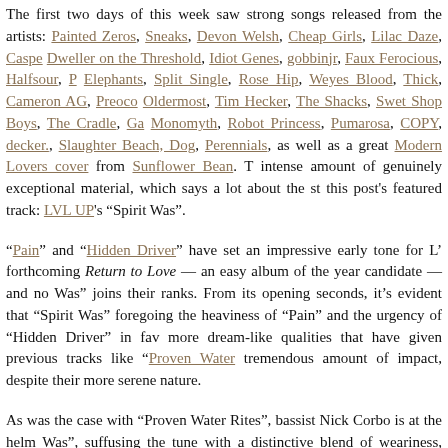The first two days of this week saw strong songs released from the artists: Painted Zeros, Sneaks, Devon Welsh, Cheap Girls, Lilac Daze, Caspe Dweller on the Threshold, Idiot Genes, gobbinjr, Faux Ferocious, Halfsour, P Elephants, Split Single, Rose Hip, Weyes Blood, Thick, Cameron AG, Preoco Oldermost, Tim Hecker, The Shacks, Swet Shop Boys, The Cradle, Ga Monomyth, Robot Princess, Pumarosa, COPY, decker., Slaughter Beach, Dog, Perennials, as well as a great Modern Lovers cover from Sunflower Bean. T intense amount of genuinely exceptional material, which says a lot about the st this post's featured track: LVL UP's "Spirit Was".
"Pain" and "Hidden Driver" have set an impressive early tone for L' forthcoming Return to Love — an easy album of the year candidate — and no Was" joins their ranks. From its opening seconds, it's evident that "Spirit Was" foregoing the heaviness of "Pain" and the urgency of "Hidden Driver" in fav more dream-like qualities that have given previous tracks like "Proven Water tremendous amount of impact, despite their more serene nature.
As was the case with "Proven Water Rites", bassist Nick Corbo is at the helm Was", suffusing the tune with a distinctive blend of weariness, downtrodden lon a glimmer of faith in the possibility that there's more to life than struggle. Lik Return to Love (which can be streamed upon pre-order). "Spirit Was" sho